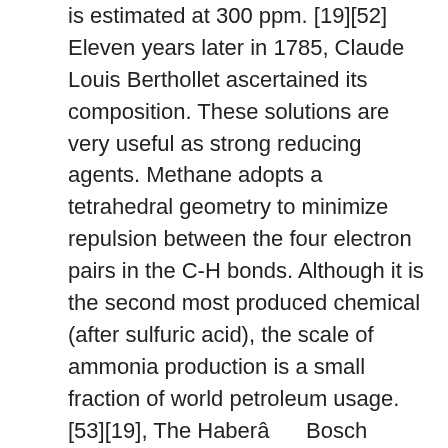is estimated at 300 ppm. [19][52] Eleven years later in 1785, Claude Louis Berthollet ascertained its composition. These solutions are very useful as strong reducing agents. Methane adopts a tetrahedral geometry to minimize repulsion between the four electron pairs in the C-H bonds. Although it is the second most produced chemical (after sulfuric acid), the scale of ammonia production is a small fraction of world petroleum usage. [53][19], The Haberâ      Bosch process to produce ammonia from the nitrogen in the air was developed by Fritz Haber and Carl Bosch in 1909 and patented in 1910. Ammonia and ammonium salts are also found in small quantities in rainwater, whereas ammonium chloride (sal ammoniac), and ammonium sulfate are found in volcanic districts; crystals of ammonium bicarbonate have been found in Patagonia guano. [129]. In certain organisms, ammonia is produced